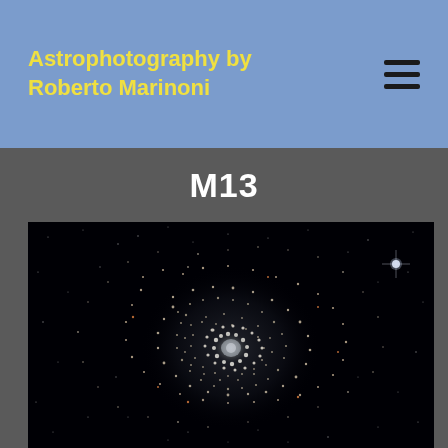Astrophotography by Roberto Marinoni
M13
[Figure (photo): Astrophotography image of M13, the Great Globular Cluster in Hercules. A dense spherical collection of hundreds of thousands of stars with a bright white-blue core fading to scattered stars at edges, against a black sky background. A bright blue-white star is visible in the upper right.]